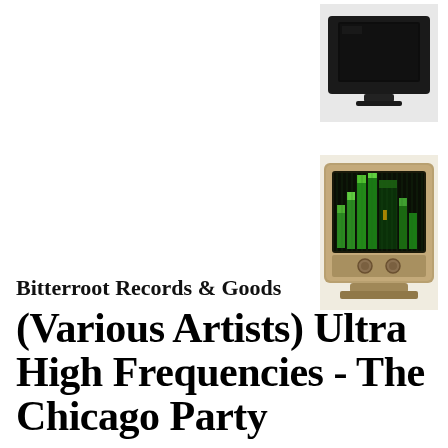[Figure (photo): Photo of a dark/black vintage TV set viewed from front-right angle, showing the screen and casing]
[Figure (photo): Photo of a vintage wood-paneled CRT television with colorful equalizer/frequency bars displayed on screen (green, yellow, orange colors), with two control knobs visible below the screen]
Bitterroot Records & Goods
(Various Artists) Ultra High Frequencies - The Chicago Party